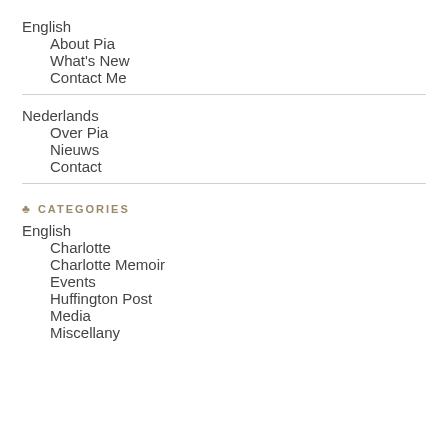English
About Pia
What's New
Contact Me
Nederlands
Over Pia
Nieuws
Contact
♣ CATEGORIES
English
Charlotte
Charlotte Memoir
Events
Huffington Post
Media
Miscellany